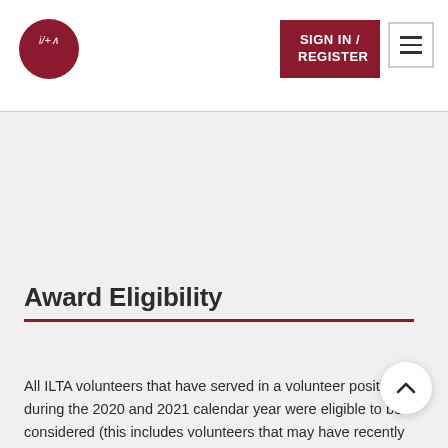[Figure (logo): ILTA circular logo with i/+a text in white on dark red background]
SIGN IN / REGISTER
Award Eligibility
All ILTA volunteers that have served in a volunteer position during the 2020 and 2021 calendar year were eligible to be considered (this includes volunteers that may have recently rolled off the volunteer role, or have recently been appointed to a volunteer role).